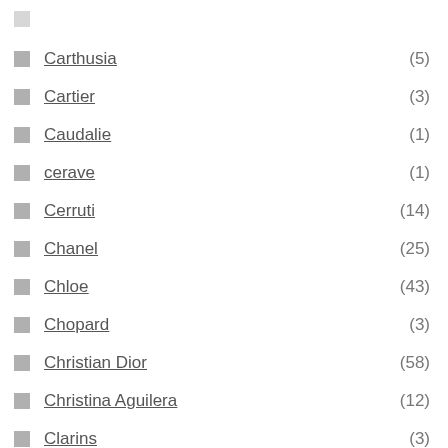Carthusia (5)
Cartier (3)
Caudalie (1)
cerave (1)
Cerruti (14)
Chanel (25)
Chloe (43)
Chopard (3)
Christian Dior (58)
Christina Aguilera (12)
Clarins (3)
Clean (71)
Clinique (13)